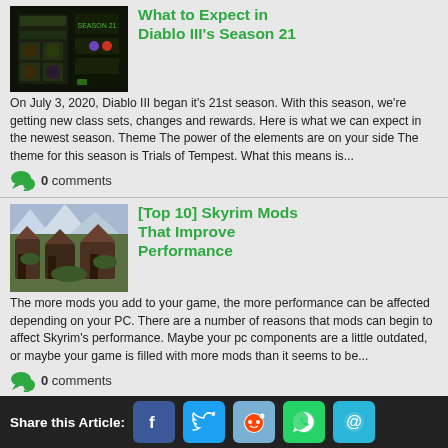What to Expect in Diablo III's Season 21
[Figure (screenshot): Diablo III game screenshot showing dark UI with green accents]
On July 3, 2020, Diablo III began it's 21st season. With this season, we're getting new class sets, changes and rewards. Here is what we can expect in the newest season. Theme The power of the elements are on your side The theme for this season is Trials of Tempest. What this means is...
0 comments
[Top 10] Skyrim Mods That Improve Performance
[Figure (screenshot): Skyrim game screenshot showing village buildings with mountains]
The more mods you add to your game, the more performance can be affected depending on your PC. There are a number of reasons that mods can begin to affect Skyrim's performance. Maybe your pc components are a little outdated, or maybe your game is filled with more mods than it seems to be...
0 comments
Share this Article: